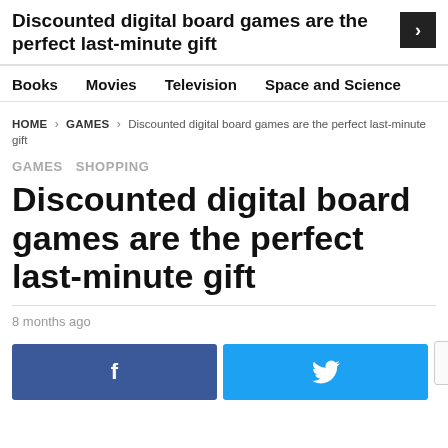Discounted digital board games are the perfect last-minute gift
Books  Movies  Television  Space and Science
HOME > GAMES > Discounted digital board games are the perfect last-minute gift
GAMES  SHOPPING
Discounted digital board games are the perfect last-minute gift
8 months ago
f  [Facebook share button]
[Twitter share button]
120 points